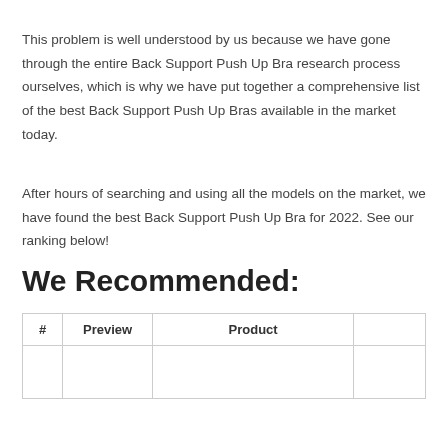This problem is well understood by us because we have gone through the entire Back Support Push Up Bra research process ourselves, which is why we have put together a comprehensive list of the best Back Support Push Up Bras available in the market today.
After hours of searching and using all the models on the market, we have found the best Back Support Push Up Bra for 2022. See our ranking below!
We Recommended:
| # | Preview | Product |  |
| --- | --- | --- | --- |
|  |  |  |  |